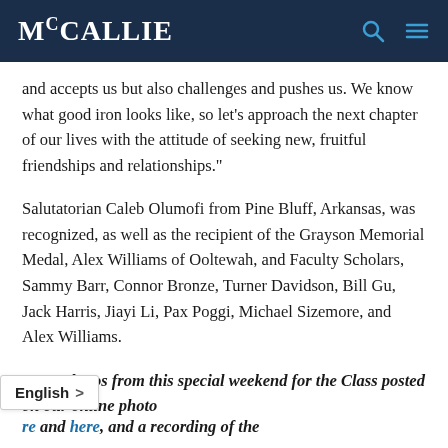McCALLIE
and accepts us but also challenges and pushes us. We know what good iron looks like, so let’s approach the next chapter of our lives with the attitude of seeking new, fruitful friendships and relationships.”
Salutatorian Caleb Olumofi from Pine Bluff, Arkansas, was recognized, as well as the recipient of the Grayson Memorial Medal, Alex Williams of Ooltewah, and Faculty Scholars, Sammy Barr, Connor Bronze, Turner Davidson, Bill Gu, Jack Harris, Jiayi Li, Pax Poggi, Michael Sizemore, and Alex Williams.
More photos from this special weekend for the Class posted on our online photo
and here, and a recording of the